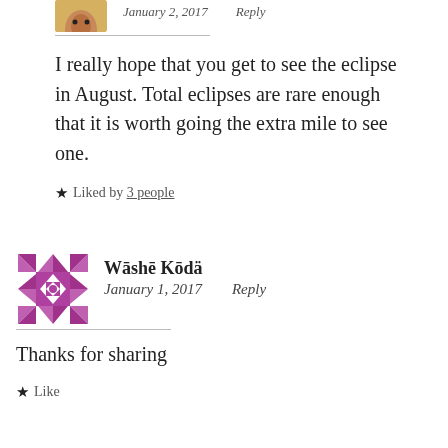[Figure (photo): Small avatar image of a person, partially visible at top of page]
January 2, 2017   Reply
I really hope that you get to see the eclipse in August. Total eclipses are rare enough that it is worth going the extra mile to see one.
★ Liked by 3 people
[Figure (illustration): Purple geometric quilt pattern avatar for Wāshē Kōdä]
Wāshē Kōdä
January 1, 2017   Reply
Thanks for sharing
★ Like